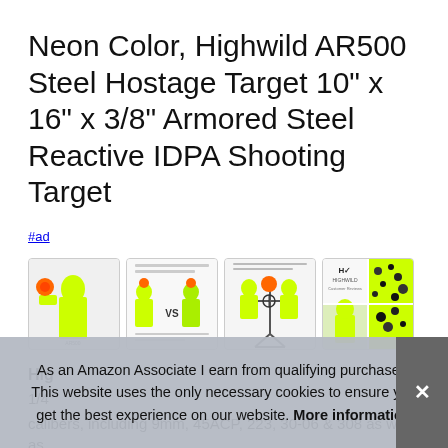Neon Color, Highwild AR500 Steel Hostage Target 10" x 16" x 3/8" Armored Steel Reactive IDPA Shooting Target
#ad
[Figure (photo): Four thumbnail product images showing neon yellow/green AR500 steel hostage targets and customer review photos]
Hig
1/4"
calibers, including 9mm, 45ACP, 223, 30-06 & 308 as well as
As an Amazon Associate I earn from qualifying purchases. This website uses the only necessary cookies to ensure you get the best experience on our website. More information